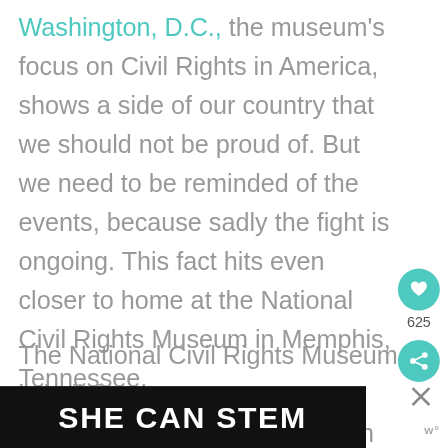Washington, D.C., the museum's focus on Civil Rights in America, shows a side of our country that we should not be proud of. But we need to be reminded of the events, because sadly the fight is ongoing. This fact hits even closer to home at the National Civil Rights Museum in Memphis, Tennessee.
The National Civil Rights Museum is built i[n] the Lorraine Motel where Martin Luther Ki[ng...]
[Figure (other): Advertisement banner reading 'SHE CAN STEM' in bold white text on black background, with a close (X) button and social sharing UI elements (heart icon with 625 likes, share icon)]